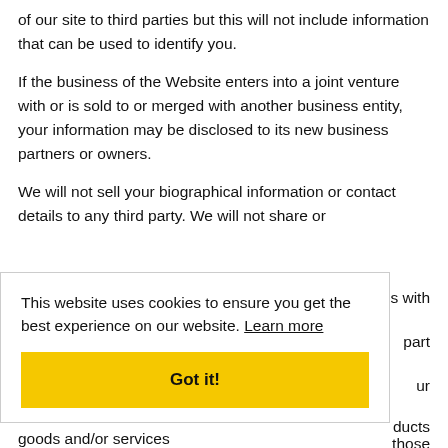of our site to third parties but this will not include information that can be used to identify you.
If the business of the Website enters into a joint venture with or is sold to or merged with another business entity, your information may be disclosed to its new business partners or owners.
We will not sell your biographical information or contact details to any third party. We will not share or [partially obscured by cookie banner]
[Figure (other): Cookie consent banner overlay with text 'This website uses cookies to ensure you get the best experience on our website. Learn more' and a yellow 'Got it!' button]
goods and/or services